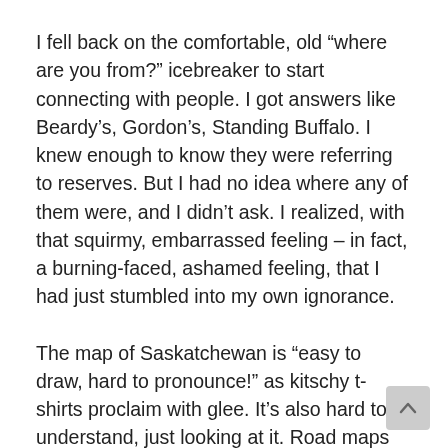I fell back on the comfortable, old “where are you from?” icebreaker to start connecting with people. I got answers like Beardy’s, Gordon’s, Standing Buffalo. I knew enough to know they were referring to reserves. But I had no idea where any of them were, and I didn’t ask. I realized, with that squirmy, embarrassed feeling – in fact, a burning-faced, ashamed feeling, that I had just stumbled into my own ignorance.
The map of Saskatchewan is “easy to draw, hard to pronounce!” as kitschy t-shirts proclaim with glee. It’s also hard to understand, just looking at it. Road maps are different from geological maps are different from the maps we carry around in our own heads. I realized in that moment that the Saskatchewan I knew was just one version of it, and a highly skewed version at that. I couldn’t place any reserves except for a few. They had no meaning